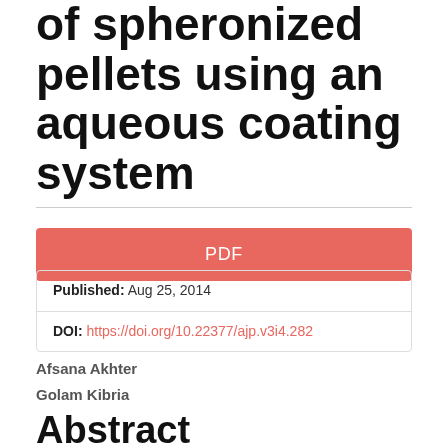of spheronized pellets using an aqueous coating system
PDF
Published: Aug 25, 2014
DOI: https://doi.org/10.22377/ajp.v3i4.282
Afsana Akhter
Golam Kibria
Abstract